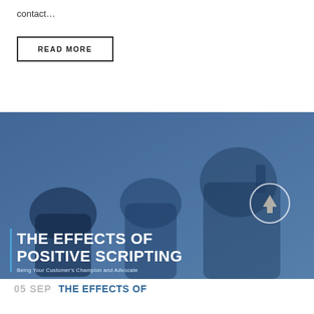contact…
READ MORE
[Figure (photo): Blue-tinted photo of office workers on the phone, with overlay text reading 'THE EFFECTS OF POSITIVE SCRIPTING — Being Your Customer's Champion and Advocate']
05 SEP THE EFFECTS OF